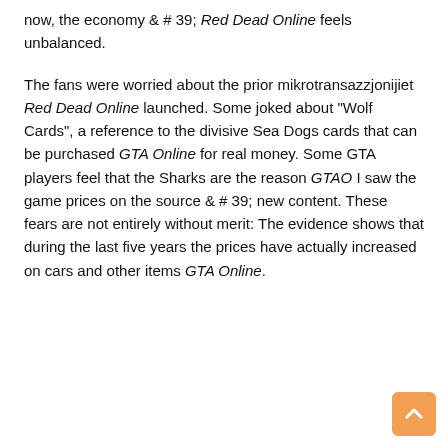now, the economy & # 39; Red Dead Online feels unbalanced.
The fans were worried about the prior mikrotransazzjonijiet Red Dead Online launched. Some joked about "Wolf Cards", a reference to the divisive Sea Dogs cards that can be purchased GTA Online for real money. Some GTA players feel that the Sharks are the reason GTAO I saw the game prices on the source & # 39; new content. These fears are not entirely without merit: The evidence shows that during the last five years the prices have actually increased on cars and other items GTA Online.
[Figure (other): Orange back-to-top button with upward chevron arrow in bottom right corner]